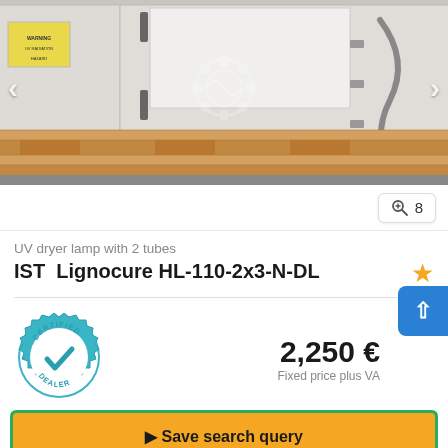[Figure (photo): UV dryer lamp machine (IST Lignocure HL-110-2x3-N-DL) sitting on a wooden pallet in a warehouse or workshop setting. The machine is white/cream colored with a yellow warning label visible. Navigation arrows are overlaid on left and right sides.]
8
UV dryer lamp with 2 tubes
IST  Lignocure HL-110-2x3-N-DL
[Figure (logo): Certified Dealer badge — teal/blue gear icon with a checkmark inside and text CERTIFIED DEALER]
2,250 €
Fixed price plus VA
Save search query
Call